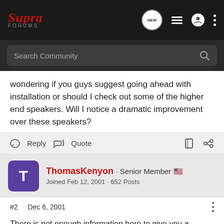[Figure (screenshot): Supra Forums navigation bar with logo, NEW bubble icon, list icon, user icon, and dots menu]
[Figure (screenshot): Search Community input bar with magnifier icon]
wondering if you guys suggest going ahead with installation or should I check out some of the higher end speakers. Will I notice a dramatic improvement over these speakers?
Reply  Quote
ThomasKenyon · Senior Member 🇺🇸
Joined Feb 12, 2001 · 652 Posts
#2 · Dec 6, 2001
There is not enough information here to give you a educated suggestion.
Are you running a stock system from a MKIV?